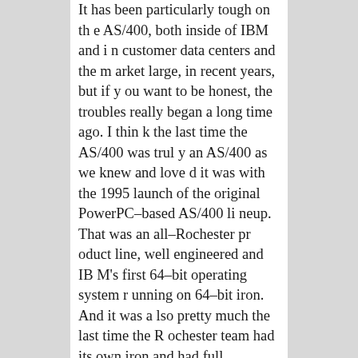It has been particularly tough on the AS/400, both inside of IBM and in customer data centers and the market large, in recent years, but if you want to be honest, the troubles really began a long time ago. I think the last time the AS/400 was truly an AS/400 as we knew and loved it was with the 1995 launch of the original PowerPC-based AS/400 lineup. That was an all-Rochester product line, well engineered and IBM's first 64-bit operating system running on 64-bit iron. And it was also pretty much the last time the Rochester team had its own iron and had full authority to create a system that suited its customers needs, IBM Corporate be damned. And, not surprisingly, it was a hugely successful product line, offering customers a big increase in performance (like twice as much) for the same mo